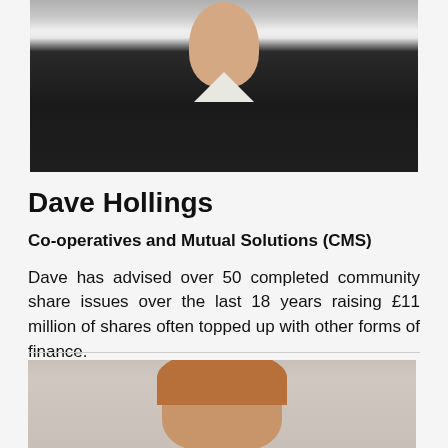[Figure (photo): Headshot photo of Dave Hollings, a man wearing a dark navy V-neck sweater over a light collared shirt, photographed against a neutral background]
Dave Hollings
Co-operatives and Mutual Solutions (CMS)
Dave has advised over 50 completed community share issues over the last 18 years raising £11 million of shares often topped up with other forms of finance.
[Figure (photo): Headshot photo of a woman with medium-length reddish-brown hair, photographed against a light neutral background]